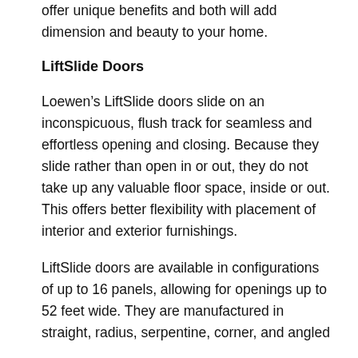offer unique benefits and both will add dimension and beauty to your home.
LiftSlide Doors
Loewen’s LiftSlide doors slide on an inconspicuous, flush track for seamless and effortless opening and closing. Because they slide rather than open in or out, they do not take up any valuable floor space, inside or out. This offers better flexibility with placement of interior and exterior furnishings.
LiftSlide doors are available in configurations of up to 16 panels, allowing for openings up to 52 feet wide. They are manufactured in straight, radius, serpentine, corner, and angled